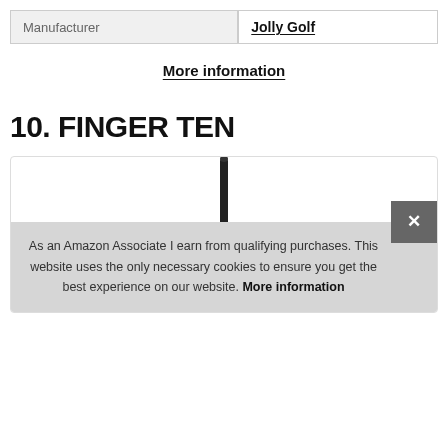| Manufacturer | Jolly Golf |
| --- | --- |
More information
10. FINGER TEN
[Figure (photo): A black golf club shaft/umbrella pole shown vertically against a white background inside a rounded rectangle box.]
As an Amazon Associate I earn from qualifying purchases. This website uses the only necessary cookies to ensure you get the best experience on our website. More information